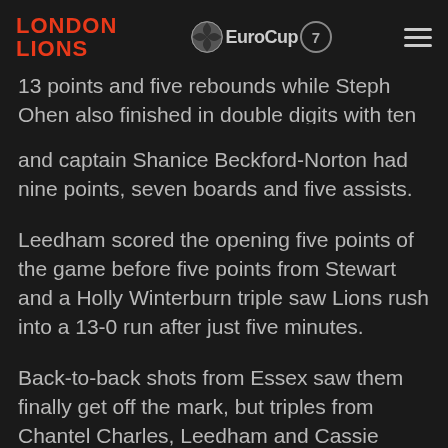London Lions | EuroCup 7
13 points and five rebounds while Steph Ohen also finished in double digits with ten points and captain Shanice Beckford-Norton had nine points, seven boards and five assists.
Leedham scored the opening five points of the game before five points from Stewart and a Holly Winterburn triple saw Lions rush into a 13-0 run after just five minutes.
Back-to-back shots from Essex saw them finally get off the mark, but triples from Chantel Charles, Leedham and Cassie Breen